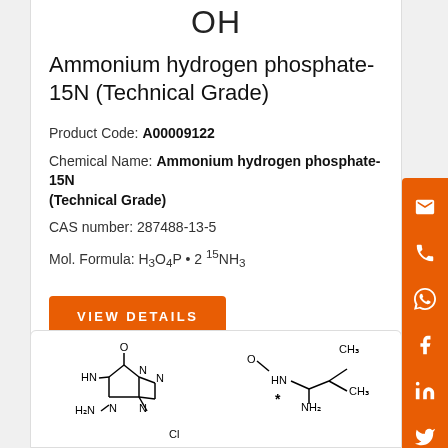OH
Ammonium hydrogen phosphate-15N (Technical Grade)
Product Code: A00009122
Chemical Name: Ammonium hydrogen phosphate-15N (Technical Grade)
CAS number: 287488-13-5
VIEW DETAILS
[Figure (illustration): Chemical structure of guanine derivative (HN, H2N, N groups with O on top)]
[Figure (illustration): Chemical structure showing CH3 groups, HN, NH2, O (amino acid amide structure)]